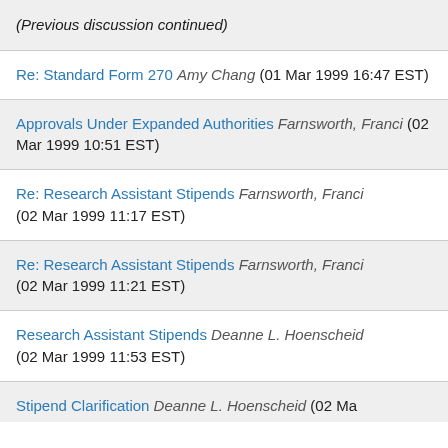(Previous discussion continued)
Re: Standard Form 270 Amy Chang (01 Mar 1999 16:47 EST)
Approvals Under Expanded Authorities Farnsworth, Franci (02 Mar 1999 10:51 EST)
Re: Research Assistant Stipends Farnsworth, Franci (02 Mar 1999 11:17 EST)
Re: Research Assistant Stipends Farnsworth, Franci (02 Mar 1999 11:21 EST)
Research Assistant Stipends Deanne L. Hoenscheid (02 Mar 1999 11:53 EST)
Stipend Clarification Deanne L. Hoenscheid (02 Mar 1999...)